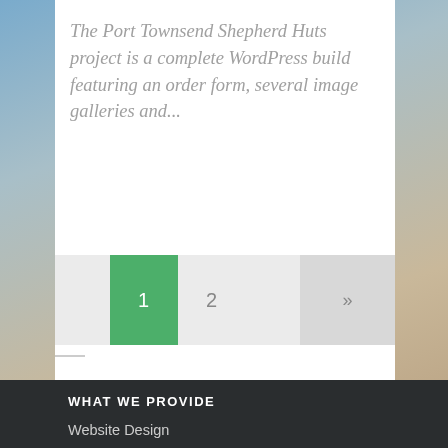The Port Townsend Shepherd Huts project is a complete WordPress build featuring an order form, several image galleries and...
[Figure (other): Pagination bar with page 1 highlighted in green, page 2 and next arrow button]
WHAT WE PROVIDE
Website Design
Website Development
SEO Services
WordPress Website Hosting
WordPress Website Management
Website Support Services